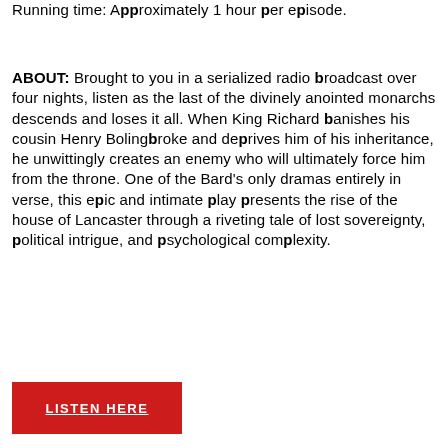Running time: Approximately 1 hour per episode.
ABOUT: Brought to you in a serialized radio broadcast over four nights, listen as the last of the divinely anointed monarchs descends and loses it all. When King Richard banishes his cousin Henry Bolingbroke and deprives him of his inheritance, he unwittingly creates an enemy who will ultimately force him from the throne. One of the Bard's only dramas entirely in verse, this epic and intimate play presents the rise of the house of Lancaster through a riveting tale of lost sovereignty, political intrigue, and psychological complexity.
LISTEN HERE